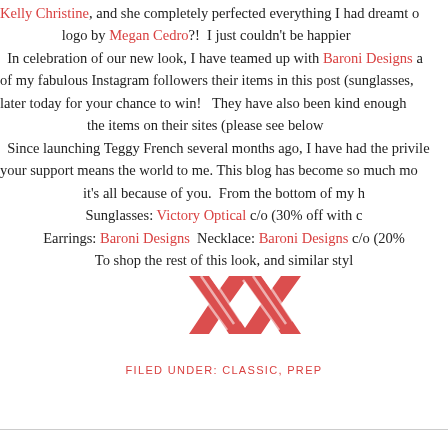Kelly Christine, and she completely perfected everything I had dreamt of. And the logo by Megan Cedro?!  I just couldn't be happier.
In celebration of our new look, I have teamed up with Baroni Designs and Victory Optical to give two of my fabulous Instagram followers their items in this post (sunglasses, earrings, and necklace). Check back later today for your chance to win!   They have also been kind enough to offer a discount code for the rest of you on the items on their sites (please see below).
Since launching Teggy French several months ago, I have had the privilege of connecting with so many of you, and your support means the world to me. This blog has become so much more than I ever imagined it could be, and it's all because of you.  From the bottom of my heart, thank you!
Sunglasses: Victory Optical c/o (30% off with code
Earrings: Baroni Designs Necklace: Baroni Designs c/o (20%
To shop the rest of this look, and similar styl
[Figure (logo): Red XX logo mark for Teggy French blog]
FILED UNDER: CLASSIC, PREP